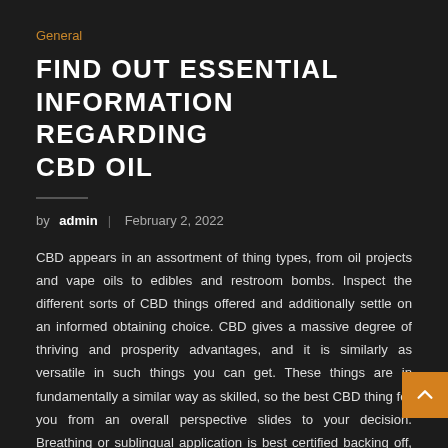General
FIND OUT ESSENTIAL INFORMATION REGARDING CBD OIL
by admin | February 2, 2022
CBD appears in an assortment of thing types, from oil projects and vape oils to edibles and restroom bombs. Inspect the different sorts of CBD things offered and additionally settle on an informed obtaining choice. CBD gives a massive degree of thriving and prosperity advantages, and it is similarly as versatile in such things you can get. These things are in fundamentally a similar way as skilled, so the best CBD thing for you from an overall perspective slides to your decision. Breathing or sublingual application is best certified backing off, while edibles what is more dental use will